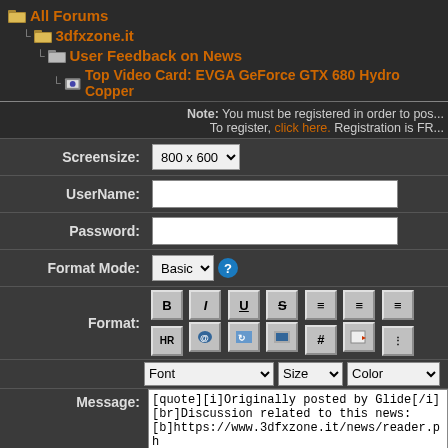All Forums
3dfxzone.it
User Feedback on News
Top Video Card: EVGA GeForce GTX 680 Hydro Copper
Note: You must be registered in order to post. To register, click here. Registration is FREE!
| Field | Value |
| --- | --- |
| Screensize: | 800 x 600 |
| UserName: |  |
| Password: |  |
| Format Mode: | Basic |
| Format: | B I U S align-left align-center align-right HR link img # |
| Message: | [quote][i]Originally posted by Glide[/i][br]Discussion related to this news:[b]https://www.3dfxzone.it/news/reader.ph[/quote] |
* HTML is OFF
* Forum Code is ON
Smilies